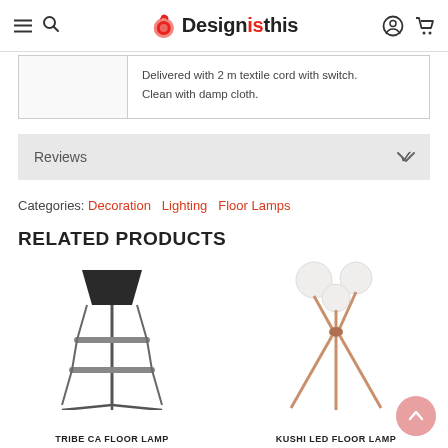Designisthis — navigation header with hamburger menu, search, logo, account, and cart icons
Delivered with 2 m textile cord with switch.
Clean with damp cloth.
Reviews
Categories: Decoration   Lighting   Floor Lamps
RELATED PRODUCTS
[Figure (photo): Tribe CA Floor Lamp product photo — a tripod-style floor lamp with a dark conical shade and two shelf levels]
TRIBE CA FLOOR LAMP
[Figure (photo): Kushi LED Floor Lamp product photo — a lamp with three globe-shaped white shades on gold/copper crossed legs]
KUSHI LED FLOOR LAMP